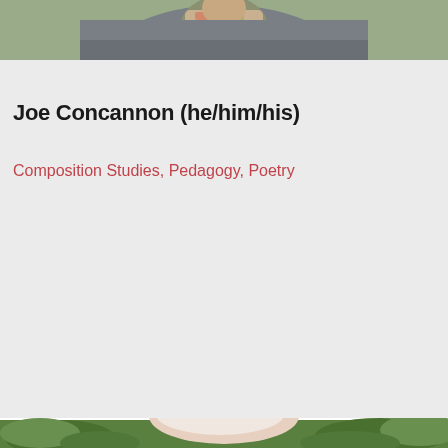[Figure (photo): Partial photo of a person wearing a grey sweater and floral/patterned shirt, cropped at the top of the page showing shoulders and lower face/neck area, outdoors background.]
Joe Concannon (he/him/his)
Composition Studies, Pedagogy, Poetry
[Figure (photo): Partial photo at the bottom of the page showing the top of a person's head (white/light hair) with green foliage in the background.]